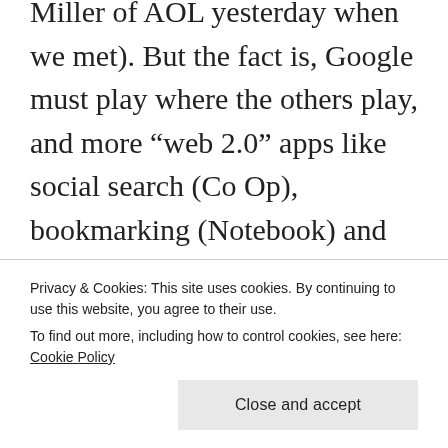Miller of AOL yesterday when we met). But the fact is, Google must play where the others play, and more “web 2.0” apps like social search (Co Op), bookmarking (Notebook) and user generated content (Co Op, Base, Finance, and Notebook) are clear moves into worlds where Yahoo, Ebay and Amazon have stronger plays. (Gary calls Co-Op “Google Base for Web Pages” – a nice characterization).
Privacy & Cookies: This site uses cookies. By continuing to use this website, you agree to their use.
To find out more, including how to control cookies, see here: Cookie Policy
Neat hacks, pointers to future directions,